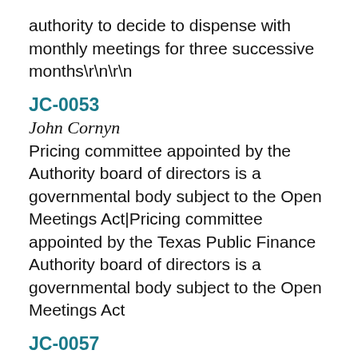authority to decide to dispense with monthly meetings for three successive months\r\n\r\n
JC-0053
John Cornyn
Pricing committee appointed by the Authority board of directors is a governmental body subject to the Open Meetings Act|Pricing committee appointed by the Texas Public Finance Authority board of directors is a governmental body subject to the Open Meetings Act
JC-0057
John Cornyn
Executive session to consult with attorney, notice of\r\n\r\n|Notice stating that subject will be discussed in open or closed session